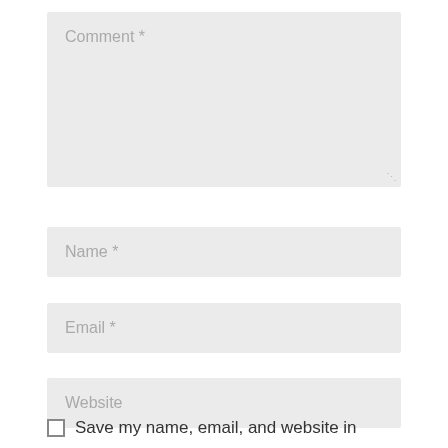Comment *
Name *
Email *
Website
Save my name, email, and website in